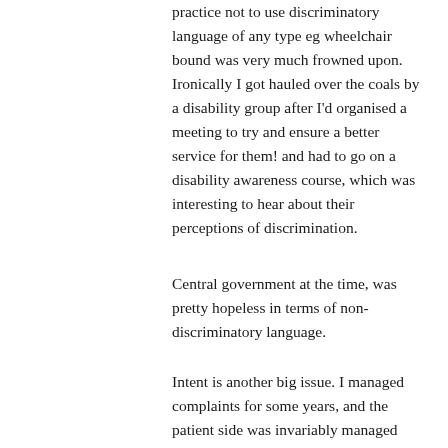practice not to use discriminatory language of any type eg wheelchair bound was very much frowned upon. Ironically I got hauled over the coals by a disability group after I'd organised a meeting to try and ensure a better service for them! and had to go on a disability awareness course, which was interesting to hear about their perceptions of discrimination.
Central government at the time, was pretty hopeless in terms of non-discriminatory language.
Intent is another big issue. I managed complaints for some years, and the patient side was invariably managed